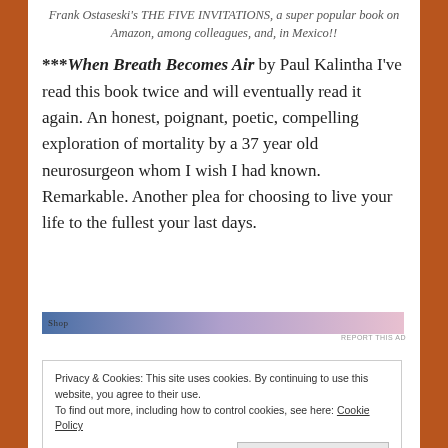Frank Ostaseski's THE FIVE INVITATIONS, a super popular book on Amazon, among colleagues, and, in Mexico!!
***When Breath Becomes Air by Paul Kalintha I've read this book twice and will eventually read it again. An honest, poignant, poetic, compelling exploration of mortality by a 37 year old neurosurgeon whom I wish I had known. Remarkable. Another plea for choosing to live your life to the fullest your last days.
[Figure (other): Horizontal gradient ad bar going from blue on the left to pink/lavender on the right, with partial text overlay and 'REPORT THIS AD' label below right.]
Privacy & Cookies: This site uses cookies. By continuing to use this website, you agree to their use. To find out more, including how to control cookies, see here: Cookie Policy
Close and accept